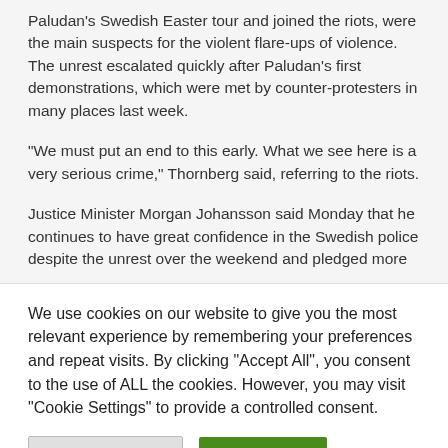Paludan's Swedish Easter tour and joined the riots, were the main suspects for the violent flare-ups of violence. The unrest escalated quickly after Paludan's first demonstrations, which were met by counter-protesters in many places last week.
“We must put an end to this early. What we see here is a very serious crime,” Thornberg said, referring to the riots.
Justice Minister Morgan Johansson said Monday that he continues to have great confidence in the Swedish police despite the unrest over the weekend and pledged more
We use cookies on our website to give you the most relevant experience by remembering your preferences and repeat visits. By clicking “Accept All”, you consent to the use of ALL the cookies. However, you may visit “Cookie Settings” to provide a controlled consent.